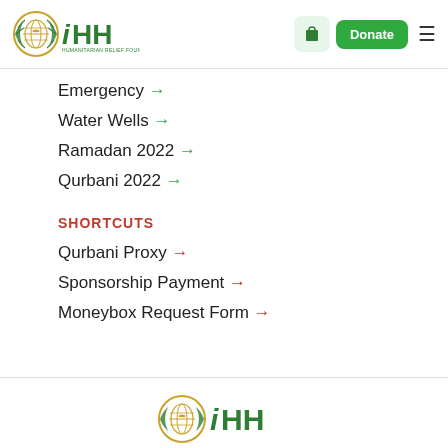[Figure (logo): IHH Humanitarian Relief Foundation logo with globe emblem and green iHH text]
Emergency →
Water Wells →
Ramadan 2022 →
Qurbani 2022 →
SHORTCUTS
Qurbani Proxy →
Sponsorship Payment →
Moneybox Request Form →
[Figure (logo): IHH logo repeated in footer area, partially visible]